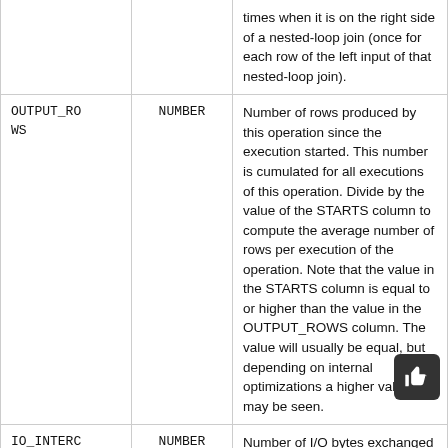| Column | Type | Description |
| --- | --- | --- |
|  |  | times when it is on the right side of a nested-loop join (once for each row of the left input of that nested-loop join). |
| OUTPUT_ROWS | NUMBER | Number of rows produced by this operation since the execution started. This number is cumulated for all executions of this operation. Divide by the value of the STARTS column to compute the average number of rows per execution of the operation. Note that the value in the STARTS column is equal to or higher than the value in the OUTPUT_ROWS column. The value will usually be equal, but depending on internal optimizations a higher value may be seen. |
| IO_INTERCONNECT_BYTES | NUMBER | Number of I/O bytes exchanged between Oracle Database and the storage system. Maintained only after Oracle starts to monitor the execution. |
| PHYSICAL | NUMBER | Number of physical read I/O |